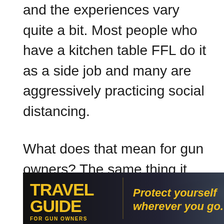and the experiences vary quite a bit. Most people who have a kitchen table FFL do it as a side job and many are aggressively practicing social distancing.
What does that mean for gun owners? The same thing it meant before all this happened: failing to plan is planning to fail.
The entire business model of internet gun-buying has relied on just-in-time inventory, predictable shipping windows and someone on the other end to crack open the box, run the A/D
[Figure (illustration): Travel Guide for Gun Owners advertisement banner by U.S. LawShield. Dark background with yellow 'TRAVEL GUIDE' text on left, italic yellow text 'Protect yourself wherever you go.' with orange forward arrows in center, and U.S. LawShield branding on right.]